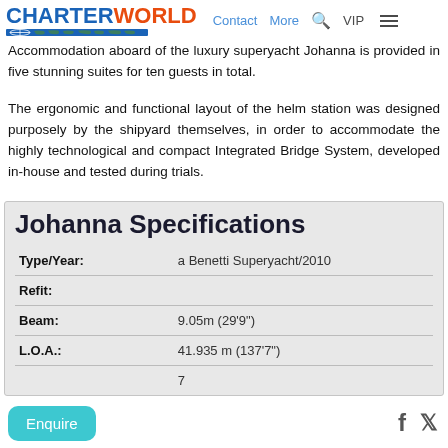CHARTERWORLD | Contact | More | VIP
Accommodation aboard of the luxury superyacht Johanna is provided in five stunning suites for ten guests in total.
The ergonomic and functional layout of the helm station was designed purposely by the shipyard themselves, in order to accommodate the highly technological and compact Integrated Bridge System, developed in-house and tested during trials.
Johanna Specifications
| Field | Value |
| --- | --- |
| Type/Year: | a Benetti Superyacht/2010 |
| Refit: |  |
| Beam: | 9.05m (29'9") |
| L.O.A.: | 41.935 m (137'7") |
|  | 7 |